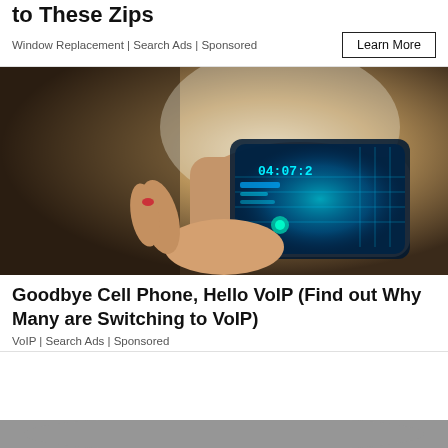to These Zips
Window Replacement | Search Ads | Sponsored
[Figure (photo): Person wearing a futuristic transparent flexible wrist display showing time 04:07 with holographic interface]
Goodbye Cell Phone, Hello VoIP (Find out Why Many are Switching to VoIP)
VoIP | Search Ads | Sponsored
[Figure (photo): Partial bottom strip showing another advertisement image]